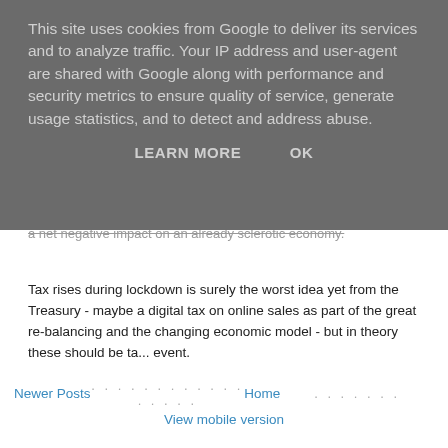This site uses cookies from Google to deliver its services and to analyze traffic. Your IP address and user-agent are shared with Google along with performance and security metrics to ensure quality of service, generate usage statistics, and to detect and address abuse.
LEARN MORE    OK
a net negative impact on an already sclerotic economy.
Tax rises during lockdown is surely the worst idea yet from the Treasury - maybe a digital tax on online sales as part of the great re-balancing and the changing economic model - but in theory these should be ta... event.
Posted by CityUnslicker   20 comments:
Labels: EU, Sunak, Taxes, Treasury, UK Budget 2021
Newer Posts
Home
View mobile version